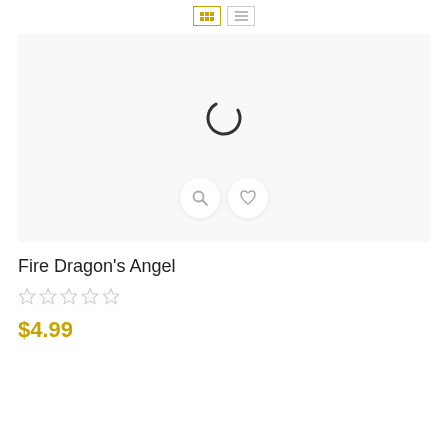[Figure (screenshot): View toggle buttons: grid view (active, gold border) and list view (inactive, grey border)]
[Figure (photo): Product card with light grey background showing a loading spinner in the center, and two circular action buttons (search/magnifier and heart/wishlist) near the bottom]
Fire Dragon's Angel
[Figure (other): Five empty star rating icons (no stars filled)]
$4.99